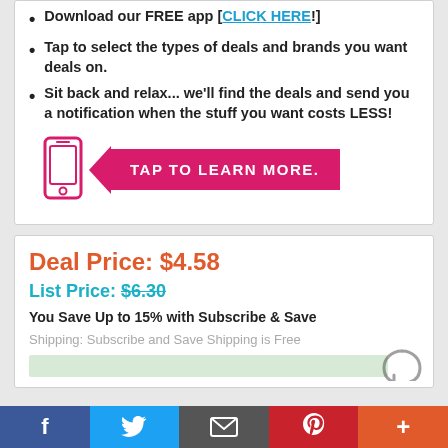Download our FREE app [CLICK HERE!]
Tap to select the types of deals and brands you want deals on.
Sit back and relax... we'll find the deals and send you a notification when the stuff you want costs LESS!
[Figure (infographic): Pink arrow button with phone icon that reads TAP TO LEARN MORE.]
Deal Price: $4.58
List Price: $6.30
You Save Up to 15% with Subscribe & Save
Shipping: Subscribe and Save Shipping is Free